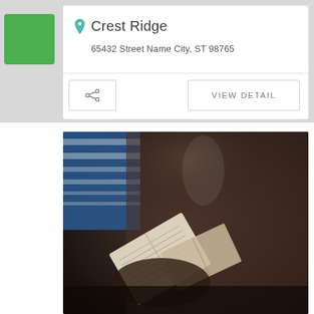Crest Ridge
65432 Street Name City, ST 98765
[Figure (photo): Person holding open books/Bible, blurred background with blue striped shirt visible, dark moody lighting]